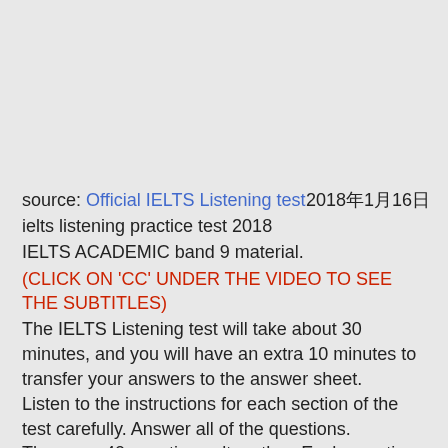source: Official IELTS Listening test   2018年1月16日
ielts listening practice test 2018
IELTS ACADEMIC band 9 material.
(CLICK ON 'CC' UNDER THE VIDEO TO SEE THE SUBTITLES)
The IELTS Listening test will take about 30 minutes, and you will have an extra 10 minutes to transfer your answers to the answer sheet.
Listen to the instructions for each section of the test carefully. Answer all of the questions.
There are 40 questions altogether. Each question carries one mark.
For each part of the test, there will be time for you to look through the questions and time for you to check your